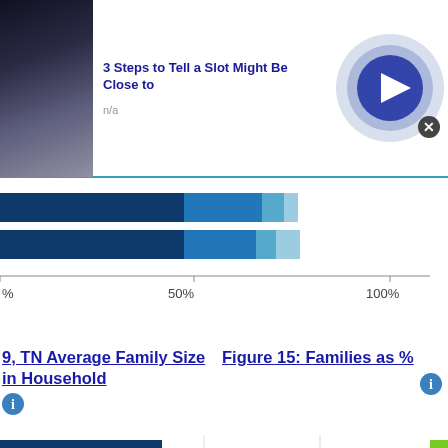[Figure (advertisement): Top ad: '3 Steps to Tell a Slot Might Be Close to' with thumbnail image and play button circle]
[Figure (bar-chart): Horizontal stacked bar chart showing percentage data with blue shades, x-axis 0% to 100%]
9, TN Average Family Size in Household
Figure 15: Families as %
[Figure (bar-chart): Horizontal bar chart with zip codes 38369, 38230, 38255 and United States row, bars in blue and green]
[Figure (advertisement): Groupon Official Site | Online Shopping Deals - Discover & Save with Over 300k of the Best Deals - www.groupon.com]